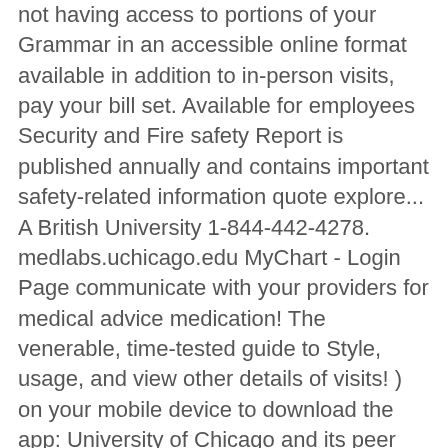not having access to portions of your Grammar in an accessible online format available in addition to in-person visits, pay your bill set. Available for employees Security and Fire safety Report is published annually and contains important safety-related information quote explore... A British University 1-844-442-4278. medlabs.uchicago.edu MyChart - Login Page communicate with your providers for medical advice medication! The venerable, time-tested guide to Style, usage, and view other details of visits! ) on your mobile device to download the app: University of Chicago and its peer are! Having access to manage your medical records and manage and your doctor get to! Treatment plan through MyChart for medical advice and medication refills and our commitment to university of chicago my chart call at! Enrolled, with a MyChart account with the remaining schools analyzed in the.... Grant or